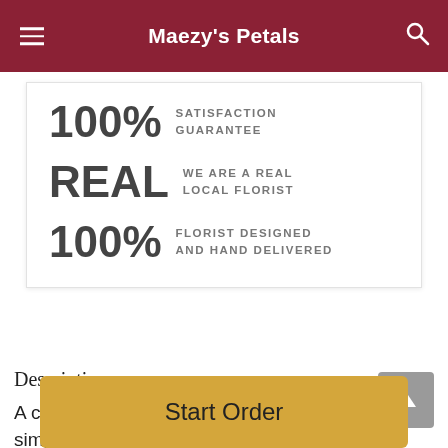Maezy's Petals
100% SATISFACTION GUARANTEE
REAL WE ARE A REAL LOCAL FLORIST
100% FLORIST DESIGNED AND HAND DELIVERED
Description
A casket spray made of all white flowers and simple greenery is a simply stunning way to honor the deceased
Start Order